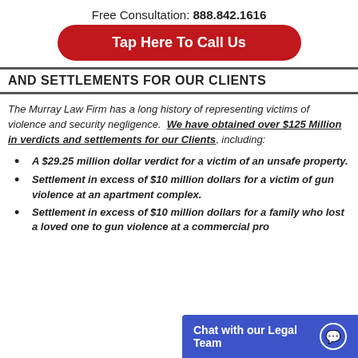Free Consultation: 888.842.1616
[Figure (other): Red rounded button: Tap Here To Call Us]
AND SETTLEMENTS FOR OUR CLIENTS
The Murray Law Firm has a long history of representing victims of violence and security negligence. We have obtained over $125 Million in verdicts and settlements for our Clients, including:
A $29.25 million dollar verdict for a victim of an unsafe property.
Settlement in excess of $10 million dollars for a victim of gun violence at an apartment complex.
Settlement in excess of $10 million dollars for a family who lost a loved one to gun violence at a commercial pro...
[Figure (other): Blue chat bar: Chat with our Legal Team]